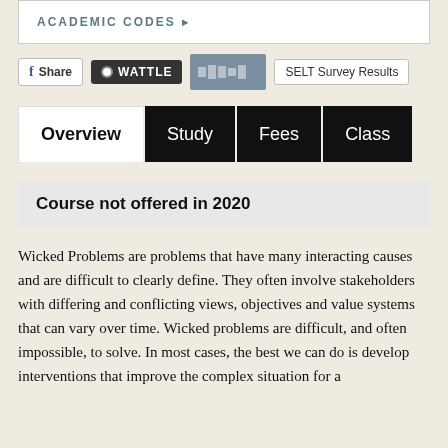ACADEMIC CODES ▶
Share   WATTLE   SELT Survey Results
Overview  Study  Fees  Class
Course not offered in 2020
Wicked Problems are problems that have many interacting causes and are difficult to clearly define. They often involve stakeholders with differing and conflicting views, objectives and value systems that can vary over time. Wicked problems are difficult, and often impossible, to solve. In most cases, the best we can do is develop interventions that improve the complex situation for a